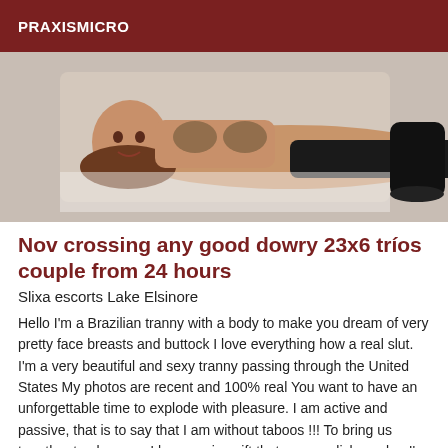PRAXISMICRO
[Figure (photo): A woman in a bikini top and black leggings/boots lying down on a white surface, photographed from above.]
Nov crossing any good dowry 23x6 tríos couple from 24 hours
Slixa escorts Lake Elsinore
Hello I'm a Brazilian tranny with a body to make you dream of very pretty face breasts and buttock I love everything how a real slut. I'm a very beautiful and sexy tranny passing through the United States My photos are recent and 100% real You want to have an unforgettable time to explode with pleasure. I am active and passive, that is to say that I am without taboos !!! To bring us together to pleasure, I have a nice gift that you can lick, suck... I'm really hard... We will be able to share